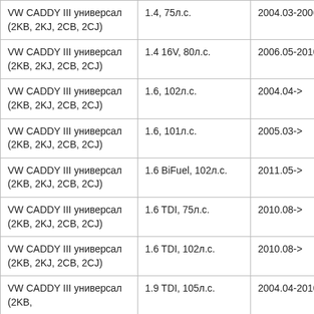| VW CADDY III универсал (2KB, 2KJ, 2CB, 2CJ) | 1.4, 75л.с. | 2004.03-2006.05 |
| VW CADDY III универсал (2KB, 2KJ, 2CB, 2CJ) | 1.4 16V, 80л.с. | 2006.05-2010.08 |
| VW CADDY III универсал (2KB, 2KJ, 2CB, 2CJ) | 1.6, 102л.с. | 2004.04-> |
| VW CADDY III универсал (2KB, 2KJ, 2CB, 2CJ) | 1.6, 101л.с. | 2005.03-> |
| VW CADDY III универсал (2KB, 2KJ, 2CB, 2CJ) | 1.6 BiFuel, 102л.с. | 2011.05-> |
| VW CADDY III универсал (2KB, 2KJ, 2CB, 2CJ) | 1.6 TDI, 75л.с. | 2010.08-> |
| VW CADDY III универсал (2KB, 2KJ, 2CB, 2CJ) | 1.6 TDI, 102л.с. | 2010.08-> |
| VW CADDY III универсал (2KB, | 1.9 TDI, 105л.с. | 2004.04-2010.08 |